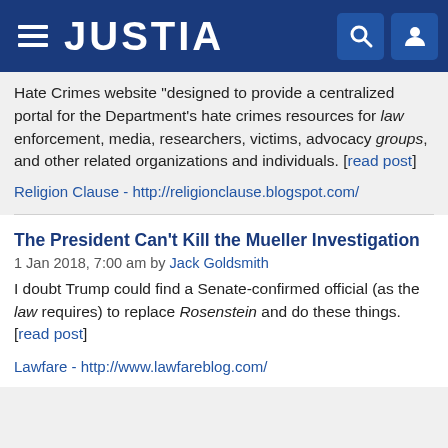JUSTIA
Hate Crimes website "designed to provide a centralized portal for the Department’s hate crimes resources for law enforcement, media, researchers, victims, advocacy groups, and other related organizations and individuals. [read post]
Religion Clause - http://religionclause.blogspot.com/
The President Can’t Kill the Mueller Investigation
1 Jan 2018, 7:00 am by Jack Goldsmith
I doubt Trump could find a Senate-confirmed official (as the law requires) to replace Rosenstein and do these things. [read post]
Lawfare - http://www.lawfareblog.com/